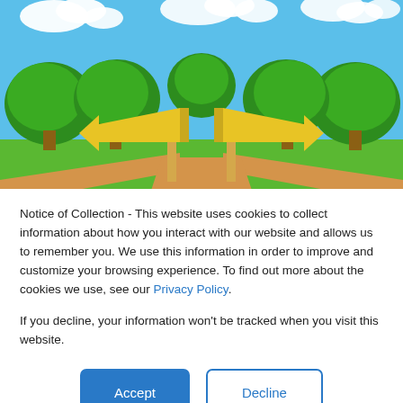[Figure (illustration): Colorful cartoon illustration of a park/crossroads scene with yellow directional arrow signs pointing left and right on wooden posts, surrounded by green trees, orange/tan dirt paths, blue sky with white clouds. At the bottom is a dark navy blue banner with white serif text reading 'Language Arts'.]
Notice of Collection - This website uses cookies to collect information about how you interact with our website and allows us to remember you. We use this information in order to improve and customize your browsing experience. To find out more about the cookies we use, see our Privacy Policy.
If you decline, your information won't be tracked when you visit this website.